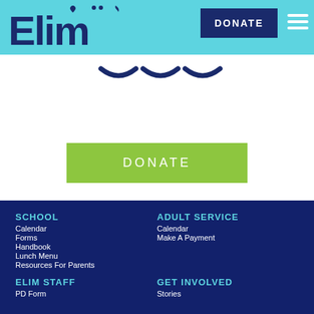Elim — DONATE (navigation header)
[Figure (screenshot): Three navy chevron/arrow icons in a row on white background]
[Figure (screenshot): Green DONATE button on white background]
SCHOOL
Calendar
Forms
Handbook
Lunch Menu
Resources For Parents
ADULT SERVICE
Calendar
Make A Payment
ELIM STAFF
PD Form
GET INVOLVED
Stories